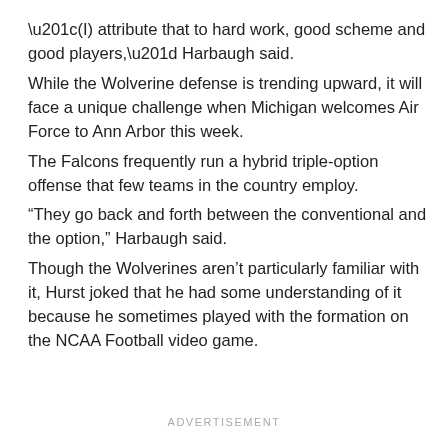“(I) attribute that to hard work, good scheme and good players,” Harbaugh said.
While the Wolverine defense is trending upward, it will face a unique challenge when Michigan welcomes Air Force to Ann Arbor this week.
The Falcons frequently run a hybrid triple-option offense that few teams in the country employ.
“They go back and forth between the conventional and the option,” Harbaugh said.
Though the Wolverines aren’t particularly familiar with it, Hurst joked that he had some understanding of it because he sometimes played with the formation on the NCAA Football video game.
ADVERTISEMENT